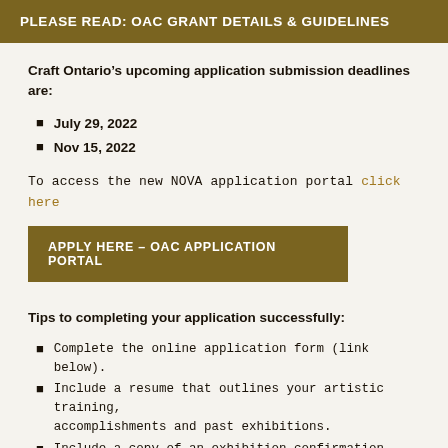PLEASE READ: OAC GRANT DETAILS & GUIDELINES
Craft Ontario’s upcoming application submission deadlines are:
July 29, 2022
Nov 15, 2022
To access the new NOVA application portal click here
APPLY HERE – OAC APPLICATION PORTAL
Tips to completing your application successfully:
Complete the online application form (link below).
Include a resume that outlines your artistic training, accomplishments and past exhibitions.
Include a copy of an exhibition confirmation document. This document must indicate the location